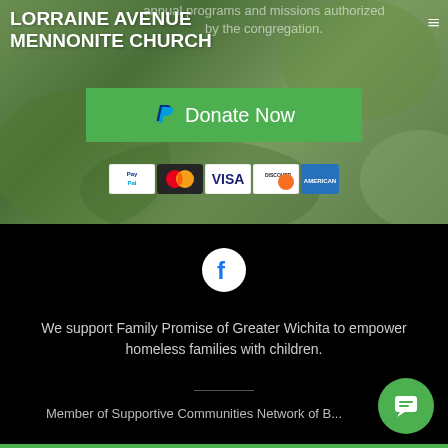annual programs and missions authorized by the congregation.
LORRAINE AVENUE MENNONITE CHURCH
[Figure (other): Green Donate Now button with PayPal logo]
[Figure (other): Payment method icons: PayPal, Mastercard, Visa, Discover, American Express]
[Figure (other): Facebook icon circle on black background]
We support Family Promise of Greater Wichita to empower homeless families with children.
Member of Supportive Communities Network of B...